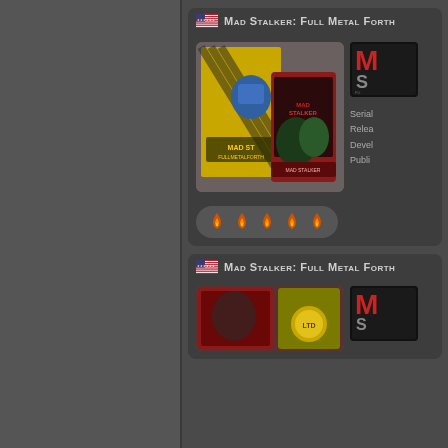[Figure (screenshot): Left sidebar panel - dark gray background, navigation area]
Mad Stalker: Full Metal Forth
[Figure (photo): Mad Stalker Full Metal Forth game box and cartridge promotional image]
[Figure (photo): Mad Stalker game cover thumbnail - black and red title card]
Serial
Release
Developer
Publisher
[Figure (infographic): Rating row: 5 orange fire/rating icons on dark pill-shaped background]
Mad Stalker: Full Metal Forth
[Figure (photo): Second Mad Stalker entry - game box and gold medallion cartridge image plus red title card thumbnail]